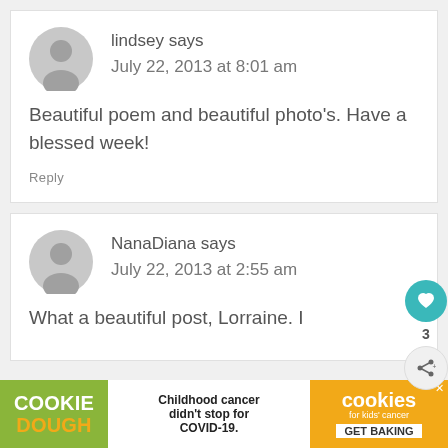[Figure (illustration): Gray default avatar circle with person silhouette for commenter lindsey]
lindsey says
July 22, 2013 at 8:01 am
Beautiful poem and beautiful photo's. Have a blessed week!
Reply
[Figure (illustration): Gray default avatar circle with person silhouette for commenter NanaDiana]
NanaDiana says
July 22, 2013 at 2:55 am
What a beautiful post, Lorraine. I
[Figure (infographic): Cookie Dough advertisement banner: Childhood cancer didn't stop for COVID-19. Cookies for kids cancer GET BAKING.]